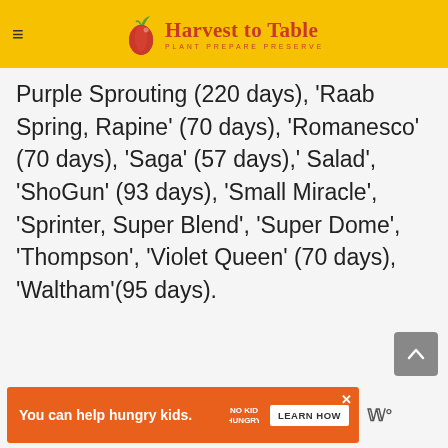Harvest to Table — PLANT PREPARE PRESERVE
Purple Sprouting (220 days), 'Raab Spring, Rapine' (70 days), 'Romanesco' (70 days), 'Saga' (57 days),' Salad', 'ShoGun' (93 days), 'Small Miracle', 'Sprinter, Super Blend', 'Super Dome', 'Thompson', 'Violet Queen' (70 days), 'Waltham'(95 days).
[Figure (other): Advertisement banner: orange background with 'You can help hungry kids.' No Kid Hungry logo and LEARN HOW button, with close X button. Wm logo on right.]